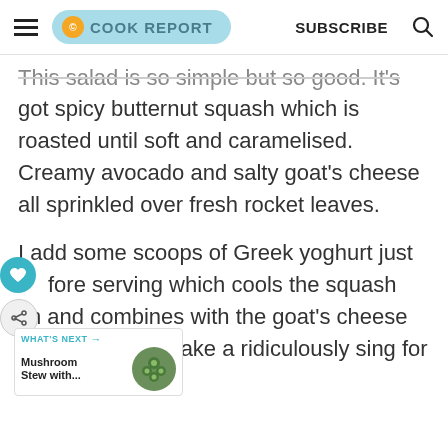COOK REPORT | SUBSCRIBE
This salad is so simple but so good. It's got spicy butternut squash which is roasted until soft and caramelised. Creamy avocado and salty goat's cheese all sprinkled over fresh rocket leaves.
I add some scoops of Greek yoghurt just before serving which cools the squash down and combines with the goat's cheese and harissa to make a ridiculously good dressing for the salad.
WHAT'S NEXT → Mushroom Stew with...